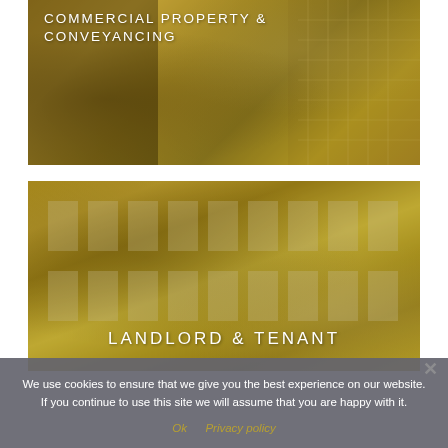[Figure (photo): Photo of modern commercial glass buildings with golden-yellow overlay tint. Title 'COMMERCIAL PROPERTY & CONVEYANCING' overlaid in white uppercase letters at top.]
[Figure (photo): Photo of a row of classic brick residential/commercial buildings with golden-yellow overlay tint. Title 'LANDLORD & TENANT' overlaid in white uppercase letters at bottom center.]
We use cookies to ensure that we give you the best experience on our website. If you continue to use this site we will assume that you are happy with it.
Ok   Privacy policy